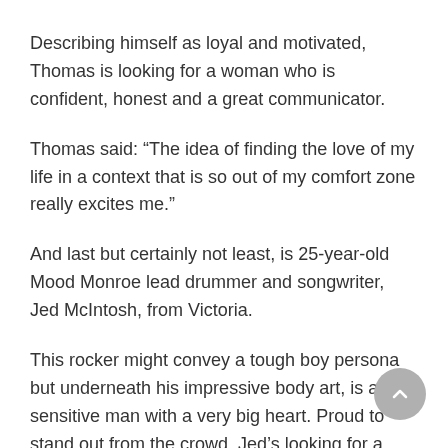Describing himself as loyal and motivated, Thomas is looking for a woman who is confident, honest and a great communicator.
Thomas said: “The idea of finding the love of my life in a context that is so out of my comfort zone really excites me.”
And last but certainly not least, is 25-year-old Mood Monroe lead drummer and songwriter, Jed McIntosh, from Victoria.
This rocker might convey a tough boy persona but underneath his impressive body art, is a sensitive man with a very big heart. Proud to stand out from the crowd, Jed’s looking for a woman who is confident, passionate,